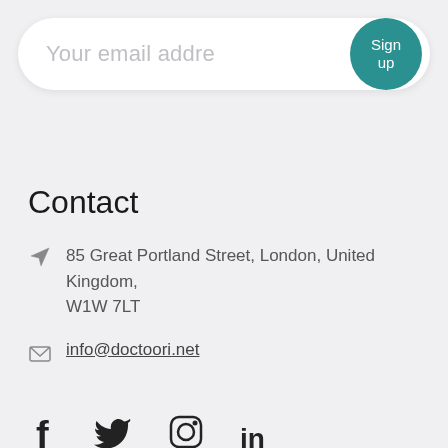[Figure (other): Email signup input bar with placeholder text 'Your email addre' (truncated) and a teal circular 'Sign up' button on the right]
Contact
85 Great Portland Street, London, United Kingdom, W1W 7LT
info@doctoori.net
[Figure (other): Social media icons row: Facebook (f), Twitter (bird/check), Instagram (camera), LinkedIn (in)]